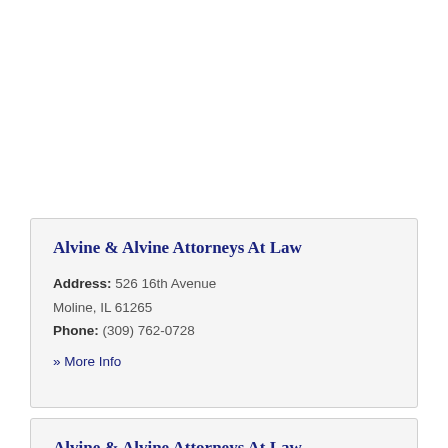Alvine & Alvine Attorneys At Law
Address: 526 16th Avenue Moline, IL 61265
Phone: (309) 762-0728
» More Info
Alvine & Alvine Attorneys At Law